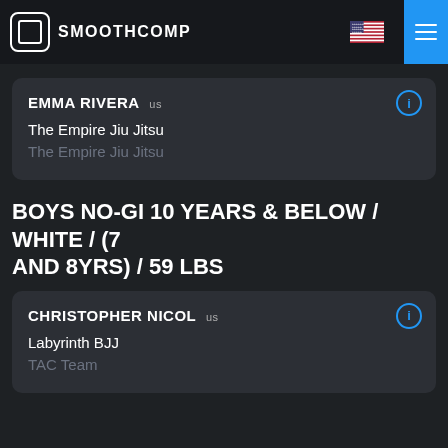SMOOTHCOMP
EMMA RIVERA us
The Empire Jiu Jitsu
The Empire Jiu Jitsu
BOYS NO-GI 10 YEARS & BELOW / WHITE / (7 AND 8YRS) / 59 LBS
CHRISTOPHER NICOL us
Labyrinth BJJ
TAC Team